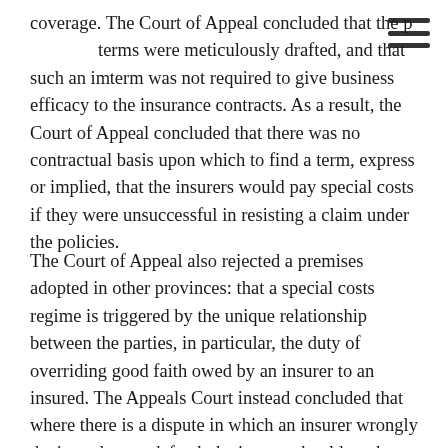coverage. The Court of Appeal concluded that the policy terms were meticulously drafted, and that such an implied term was not required to give business efficacy to the insurance contracts. As a result, the Court of Appeal concluded that there was no contractual basis upon which to find a term, express or implied, that the insurers would pay special costs if they were unsuccessful in resisting a claim under the policies.
The Court of Appeal also rejected a premises adopted in other provinces: that a special costs regime is triggered by the unique relationship between the parties, in particular, the duty of overriding good faith owed by an insurer to an insured. The Appeals Court instead concluded that where there is a dispute in which an insurer wrongly denies a duty to defend, the insurer should not be treated any differently than any other defendant which finds itself on the wrong end of a breach of contract claim. Absent reprehensible conduct, such as a breach of the duty of good faith, there is no